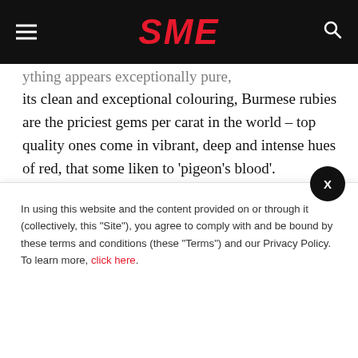SME
its clean and exceptional colouring, Burmese rubies are the priciest gems per carat in the world – top quality ones come in vibrant, deep and intense hues of red, that some liken to 'pigeon's blood'.
The Ananda Rubies necklace is finely crafted with 78 natural transparent purplish red rubies specially imported from Burma and 379 natural diamonds – each
In using this website and the content provided on or through it (collectively, this "Site"), you agree to comply with and be bound by these terms and conditions (these "Terms") and our Privacy Policy. To learn more, click here.
that is destined for a woman blessed with unerring